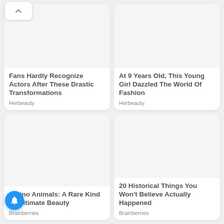[Figure (other): Scroll up button with chevron icon at top left]
Fans Hardly Recognize Actors After These Drastic Transformations
Herbeauty
At 9 Years Old, This Young Girl Dazzled The World Of Fashion
Herbeauty
Albino Animals: A Rare Kind Of Ultimate Beauty
Brainberries
20 Historical Things You Won't Believe Actually Happened
Brainberries